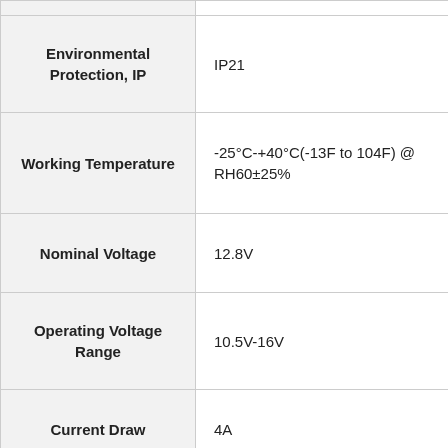| Parameter | Value | Value2 |
| --- | --- | --- |
| Environmental Protection, IP | IP21 |  |
| Working Temperature | -25°C-+40°C(-13F to 104F) @ RH60±25% |  |
| Nominal Voltage | 12.8V |  |
| Operating Voltage Range | 10.5V-16V |  |
| Current Draw | 4A |  |
| Intermittent Maximum Current Draw | 8-10A | 6A |
| Quiescent Current | 1mA |  |